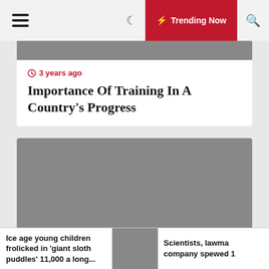Trending Now
[Figure (photo): Gray placeholder image at top of first article card]
3 years ago
Importance Of Training In A Country's Progress
[Figure (photo): Gray placeholder image for second article]
3 years ago
Mdvs
Ice age young children frolicked in 'giant sloth puddles' 11,000 a long...
[Figure (photo): Gray placeholder thumbnail for second bottom story]
Scientists, lawma company spewed 1